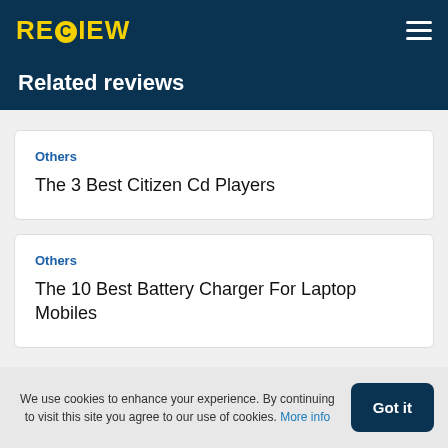RECIEW
Related reviews
Others
The 3 Best Citizen Cd Players
Others
The 10 Best Battery Charger For Laptop Mobiles
We use cookies to enhance your experience. By continuing to visit this site you agree to our use of cookies. More info